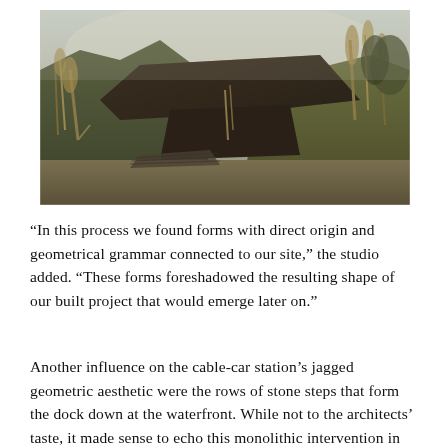[Figure (photo): Exterior photograph of a modern angular building with a dark cantilevered roof structure embedded into a mountainside. The building features geometric slanted forms. Surrounding vegetation includes tall dry grasses and reeds. The landscape is hilly with trees in the background under a hazy sky.]
“In this process we found forms with direct origin and geometrical grammar connected to our site,” the studio added. “These forms foreshadowed the resulting shape of our built project that would emerge later on.”
Another influence on the cable-car station’s jagged geometric aesthetic were the rows of stone steps that form the dock down at the waterfront. While not to the architects’ taste, it made sense to echo this monolithic intervention in the